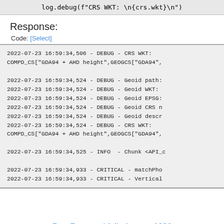log.debug(f"CRS WKT: \n{crs.wkt}\n")
Response:
Code: [Select]
2022-07-23 16:59:34,506 - DEBUG - CRS WKT:
COMPD_CS["GDA94 + AHD height",GEOGCS["GDA94",

2022-07-23 16:59:34,524 - DEBUG - Geoid path:
2022-07-23 16:59:34,524 - DEBUG - Geoid WKT:
2022-07-23 16:59:34,524 - DEBUG - Geoid EPSG:
2022-07-23 16:59:34,524 - DEBUG - Geoid CRS n
2022-07-23 16:59:34,524 - DEBUG - Geoid descr
2022-07-23 16:59:34,524 - DEBUG - CRS WKT:
COMPD_CS["GDA94 + AHD height",GEOGCS["GDA94",

2022-07-23 16:59:34,525 - INFO  - Chunk <API_c

2022-07-23 16:59:34,933 - CRITICAL - matchPho
2022-07-23 16:59:34,933 - CRITICAL - Vertical
Bug Reports / failed: error 1286